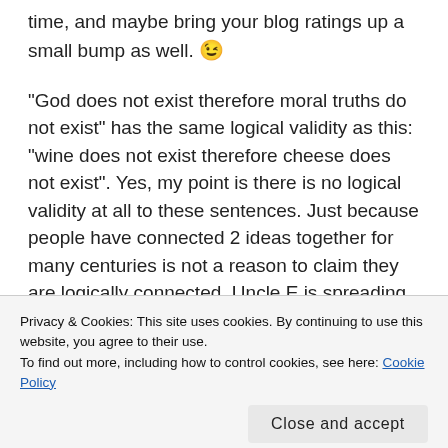time, and maybe bring your blog ratings up a small bump as well. 😉
“God does not exist therefore moral truths do not exist” has the same logical validity as this: “wine does not exist therefore cheese does not exist”. Yes, my point is there is no logical validity at all to these sentences. Just because people have connected 2 ideas together for many centuries is not a reason to claim they are logically connected. Uncle E is spreading a false idea which I believe many atheists and
Privacy & Cookies: This site uses cookies. By continuing to use this website, you agree to their use.
To find out more, including how to control cookies, see here: Cookie Policy
this subject of morality is really a very